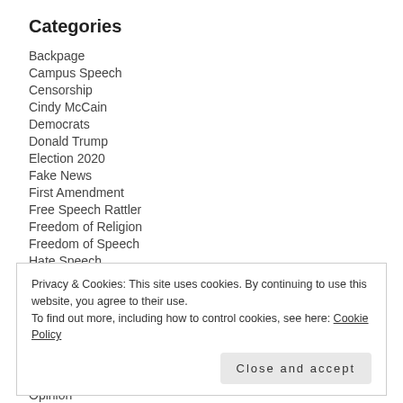Categories
Backpage
Campus Speech
Censorship
Cindy McCain
Democrats
Donald Trump
Election 2020
Fake News
First Amendment
Free Speech Rattler
Freedom of Religion
Freedom of Speech
Hate Speech
Jim Larkin
Privacy & Cookies: This site uses cookies. By continuing to use this website, you agree to their use.
To find out more, including how to control cookies, see here: Cookie Policy
Close and accept
Opinion